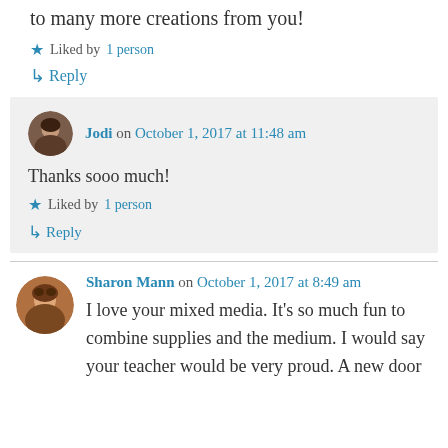to many more creations from you!
★ Liked by 1 person
↳ Reply
Jodi on October 1, 2017 at 11:48 am
Thanks sooo much!
★ Liked by 1 person
↳ Reply
Sharon Mann on October 1, 2017 at 8:49 am
I love your mixed media. It's so much fun to combine supplies and the medium. I would say your teacher would be very proud. A new door